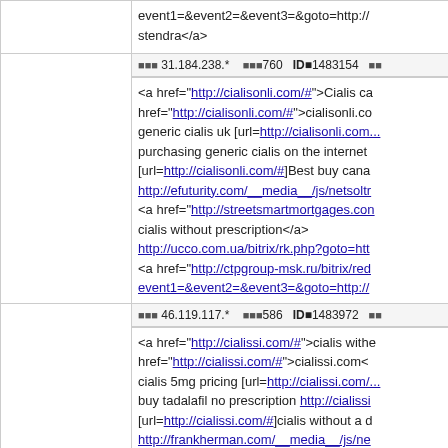event1=&event2=&event3=&goto=http://... stendra</a>
IP: 31.184.238.*   Posts: 760  ID: 1483154
<a href="http://cialisonli.com/#">Cialis ca... href="http://cialisonli.com/#">cialisonli.co... generic cialis uk [url=http://cialisonli.com... purchasing generic cialis on the internet [url=http://cialisonli.com/#]Best buy cana... http://efuturity.com/__media__/js/netsolt... <a href="http://streetsmartmortgages.com... cialis without prescription</a> http://ucco.com.ua/bitrix/rk.php?goto=htt... <a href="http://ctpgroup-msk.ru/bitrix/red... event1=&event2=&event3=&goto=http://
IP: 46.119.117.*   Posts: 586  ID: 1483972
<a href="http://cialissi.com/#">cialis withe... href="http://cialissi.com/#">cialissi.com<... cialis 5mg pricing [url=http://cialissi.com/... buy tadalafil no prescription http://cialissi... [url=http://cialissi.com/#]cialis without a d... http://frankherman.com/__media__/js/ne... <a href="http://talonhealthcare.com/__m... daily use without prescription</a>
IP: 31.184.238.*   Posts: 700  ID: 1487579